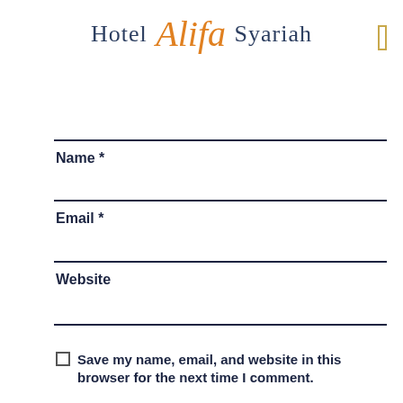Hotel Alifa Syariah
Name *
Email *
Website
Save my name, email, and website in this browser for the next time I comment.